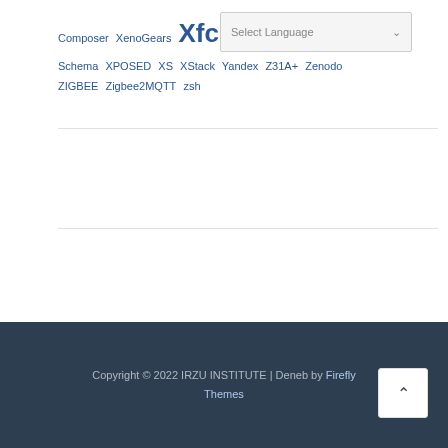Composer XenoGears Xfce Schema XPOSED XS XStack Yandex Z31A+ Zenodo ZIGBEE Zigbee2MQTT zsh
[Figure (screenshot): Select Language dropdown overlay]
Copyright © 2022 IRZU INSTITUTE | Deneb by Firefly Themes